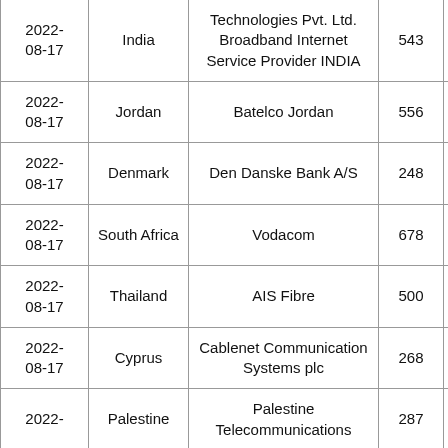| Date | Country | Provider | Value |  |
| --- | --- | --- | --- | --- |
| 2022-08-17 | India | Technologies Pvt. Ltd. Broadband Internet Service Provider INDIA | 543 |  |
| 2022-08-17 | Jordan | Batelco Jordan | 556 |  |
| 2022-08-17 | Denmark | Den Danske Bank A/S | 248 |  |
| 2022-08-17 | South Africa | Vodacom | 678 |  |
| 2022-08-17 | Thailand | AIS Fibre | 500 |  |
| 2022-08-17 | Cyprus | Cablenet Communication Systems plc | 268 |  |
| 2022- | Palestine | Palestine Telecommunications | 287 |  |